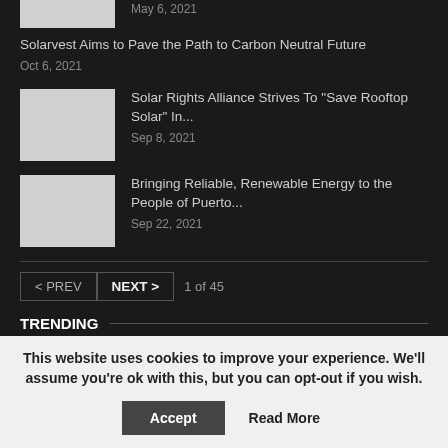May 6, 2021
Solarvest Aims to Pave the Path to Carbon Neutral Future
Oct 6, 2021
Solar Rights Alliance Strives To "Save Rooftop Solar" In...
Sep 8, 2021
Bringing Reliable, Renewable Energy to the People of Puerto...
Sep 22, 2021
< PREV  NEXT >  1 of 45
TRENDING
This website uses cookies to improve your experience. We'll assume you're ok with this, but you can opt-out if you wish.